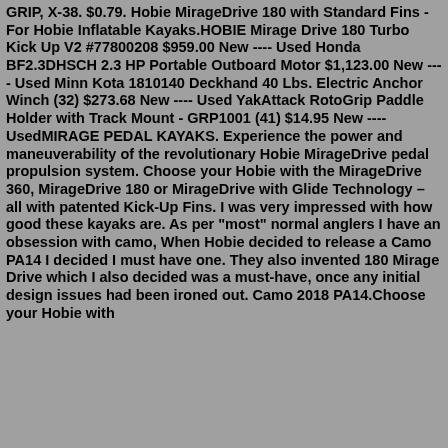GRIP, X-38. $0.79. Hobie MirageDrive 180 with Standard Fins - For Hobie Inflatable Kayaks.HOBIE Mirage Drive 180 Turbo Kick Up V2 #77800208 $959.00 New ---- Used Honda BF2.3DHSCH 2.3 HP Portable Outboard Motor $1,123.00 New ---- Used Minn Kota 1810140 Deckhand 40 Lbs. Electric Anchor Winch (32) $273.68 New ---- Used YakAttack RotoGrip Paddle Holder with Track Mount - GRP1001 (41) $14.95 New ---- UsedMIRAGE PEDAL KAYAKS. Experience the power and maneuverability of the revolutionary Hobie MirageDrive pedal propulsion system. Choose your Hobie with the MirageDrive 360, MirageDrive 180 or MirageDrive with Glide Technology – all with patented Kick-Up Fins. I was very impressed with how good these kayaks are. As per "most" normal anglers I have an obsession with camo, When Hobie decided to release a Camo PA14 I decided I must have one. They also invented 180 Mirage Drive which I also decided was a must-have, once any initial design issues had been ironed out. Camo 2018 PA14.Choose your Hobie with